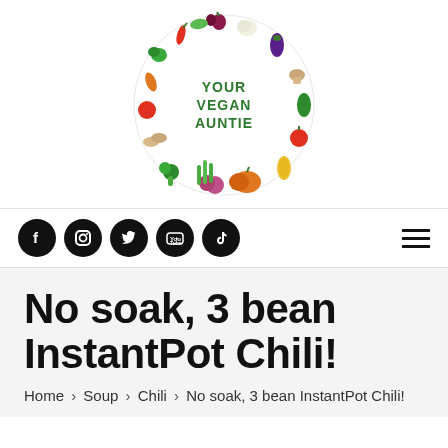[Figure (logo): Your Vegan Auntie circular logo made of illustrated vegetables surrounding the text 'YOUR VEGAN AUNTIE' in green letters]
[Figure (infographic): Navigation bar with social media icons (Facebook, Instagram, Twitter, YouTube, TikTok) as black circles on left, and hamburger menu on right]
No soak, 3 bean InstantPot Chili!
Home > Soup > Chili > No soak, 3 bean InstantPot Chili!